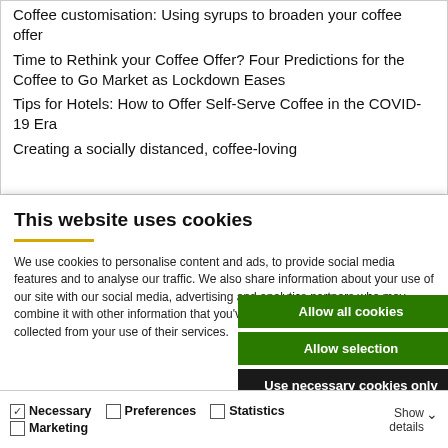Coffee customisation: Using syrups to broaden your coffee offer
Time to Rethink your Coffee Offer? Four Predictions for the Coffee to Go Market as Lockdown Eases
Tips for Hotels: How to Offer Self-Serve Coffee in the COVID-19 Era
Creating a socially distanced, coffee-loving...
This website uses cookies
We use cookies to personalise content and ads, to provide social media features and to analyse our traffic. We also share information about your use of our site with our social media, advertising and analytics partners who may combine it with other information that you've provided to them or that they've collected from your use of their services.
Allow all cookies
Allow selection
Use necessary cookies only
Necessary  Preferences  Statistics  Marketing  Show details